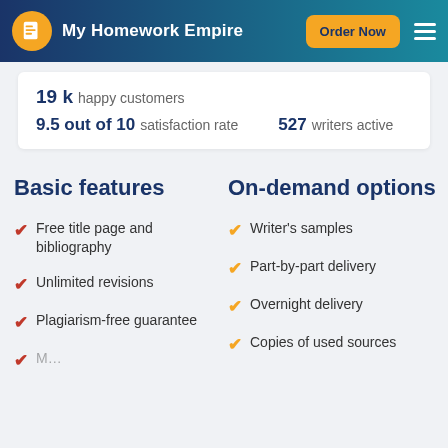My Homework Empire  Order Now
19 k happy customers
9.5 out of 10 satisfaction rate    527 writers active
Basic features
On-demand options
Free title page and bibliography
Unlimited revisions
Plagiarism-free guarantee
Writer's samples
Part-by-part delivery
Overnight delivery
Copies of used sources